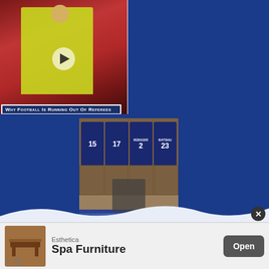[Figure (screenshot): Video thumbnail of a football referee in yellow jersey raising hand, with red crowd background and play button overlay. Title bar reads: Why Football Is Running Out Of Referees]
[Figure (photo): Person sitting on bench in football dressing room, with jerseys numbered 15, 17, 2, 23 hanging in background (including names on some jerseys). Wooden locker room setting with blue bench.]
Gerry Crisandy
[Figure (logo): Twitter bird icon in white]
fan who loves football statistics...
[Figure (screenshot): Advertisement banner for Esthetica Spa Furniture with product image of a massage table and Open button]